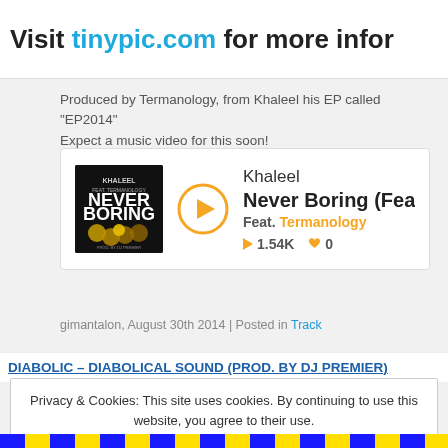Visit tinypic.com for more info
Produced by Termanology, from Khaleel his EP called “EP2014”
Expect a music video for this soon!
[Figure (screenshot): Music player card showing Khaleel - Never Boring (Feat. Termanology) with album art, play button, 1.54K plays, 0 likes]
gimantalon, August 30th 2014 | Posted in Track
DIABOLIC – DIABOLICAL SOUND (PROD. BY DJ PREMIER)
Privacy & Cookies: This site uses cookies. By continuing to use this website, you agree to their use.
To find out more, including how to control cookies, see here: Cookie Policy
Close and accept